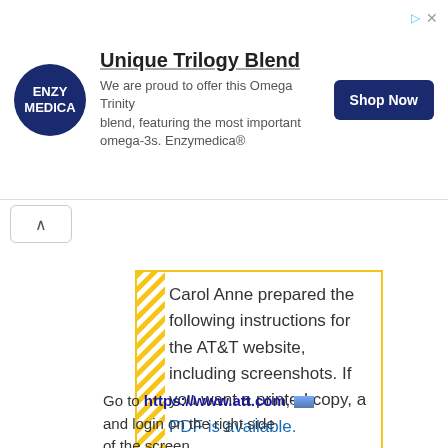[Figure (other): Advertisement banner for Enzymedica Unique Trilogy Blend with logo, description text, and Shop Now button]
Carol Anne prepared the following instructions for the AT&T website, including screenshots. If you want a printed copy, a PDF is available.
Go to https://www.att.com, and login on the right side of the screen